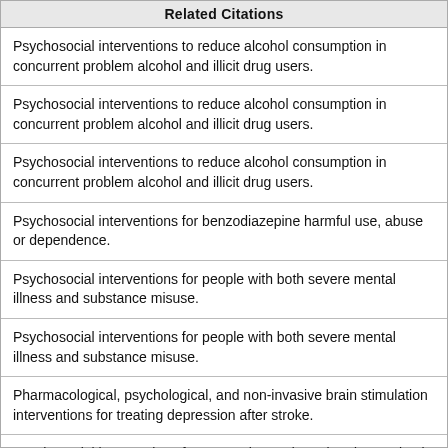| Related Citations |
| --- |
| Psychosocial interventions to reduce alcohol consumption in concurrent problem alcohol and illicit drug users. |
| Psychosocial interventions to reduce alcohol consumption in concurrent problem alcohol and illicit drug users. |
| Psychosocial interventions to reduce alcohol consumption in concurrent problem alcohol and illicit drug users. |
| Psychosocial interventions for benzodiazepine harmful use, abuse or dependence. |
| Psychosocial interventions for people with both severe mental illness and substance misuse. |
| Psychosocial interventions for people with both severe mental illness and substance misuse. |
| Pharmacological, psychological, and non-invasive brain stimulation interventions for treating depression after stroke. |
| Psychosocial interventions for preventing and treating depression in dialysis patients. |
| Brief interventions for heavy alcohol users admitted to general hospital wards. |
| Non-pharmacological interventions for somatoform disorders and medically unexplained physical symptoms (MUPS) in adults. |
| More |